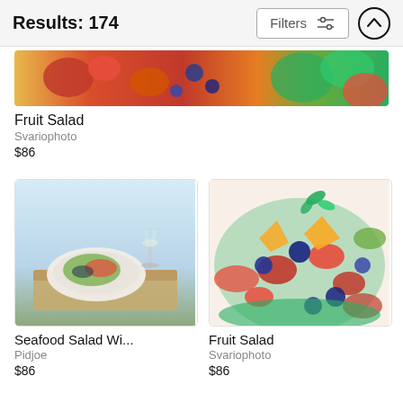Results: 174
[Figure (screenshot): Filters button with sliders icon and up-arrow circle button in header]
[Figure (photo): Cropped banner photo of a colorful fruit salad with strawberries, blueberries, watermelon, and kiwi]
Fruit Salad
Svariophoto
$86
[Figure (photo): Photo of a seafood salad dish on a wooden board with a glass of white wine]
Seafood Salad Wi...
Pidjoe
$86
[Figure (photo): Close-up photo of a fruit salad with strawberries, blueberries, mango, and mint in a watermelon bowl]
Fruit Salad
Svariophoto
$86